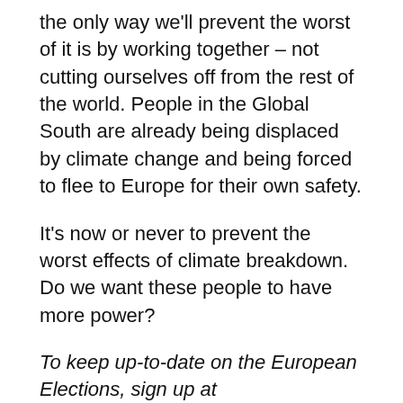the only way we'll prevent the worst of it is by working together – not cutting ourselves off from the rest of the world. People in the Global South are already being displaced by climate change and being forced to flee to Europe for their own safety.
It's now or never to prevent the worst effects of climate breakdown. Do we want these people to have more power?
To keep up-to-date on the European Elections, sign up at www.ttimv.eu/EuropeWeWant